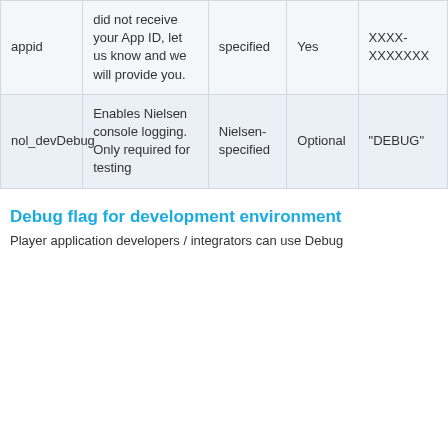| appid | did not receive your App ID, let us know and we will provide you. | specified | Yes | XXXX-XXXXXXX |
| nol_devDebug | Enables Nielsen console logging. Only required for testing | Nielsen-specified | Optional | "DEBUG" |
Debug flag for development environment
Player application developers / integrators can use Debug